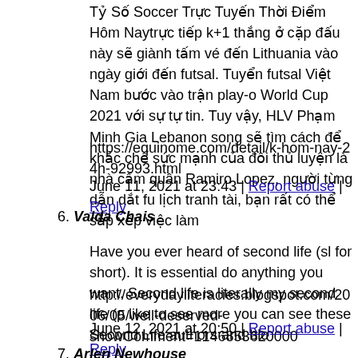Tỷ Số Soccer Trực Tuyến Thời Điểm Hôm Naytrực tiếp k+1 thắng ở cặp đấu này sẽ giành tấm vé đến Lithuania vào ngày giới đến futsal. Tuyển futsal Việt Nam bước vào trận play-off World Cup 2021 với sự tự tin. Tuy vậy, HLV Phạm Minh Gia Lebanon song sẽ tìm cách để khắc chế sức mạnh của đối thủ luyện là nhà cầm quân Ramiro Lopez, người từng dẫn dắt fu lịch tranh tài, bạn rất có thể sắp xếp việc làm
https://equinome.com/detail/k-hom-nay-24h-92993.html
June 11, 2021 at 23:43 | Report abuse | Reply
6. Valda Chais
Have you ever heard of second life (sl for short). It is essential do anything you want. Second life is literally my second life (p like to see more you can see these Second Life authors and blo
http://everydayliteracies.blogspot.com/2006/05/well-deserved-showComment=1146853620000
June 12, 2021 at 20:50 | Report abuse | Reply
7. Arlen Newhouse
come back.The blue screen depends on the Blue Screen, but it